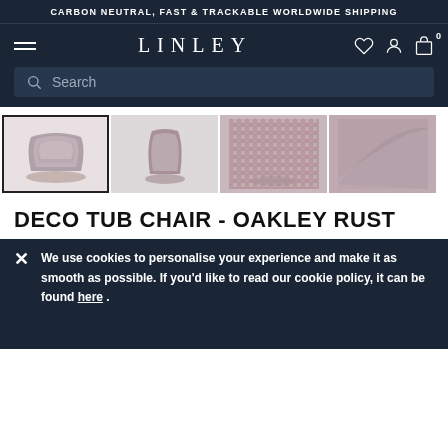CARBON NEUTRAL, FAST & TRACKABLE WORLDWIDE SHIPPING
[Figure (screenshot): LINLEY brand navigation bar with hamburger menu, logo, heart/account/cart icons, and search bar]
[Figure (photo): Four thumbnail images of the Deco Tub Chair in Oakley Rust fabric — front view, side view, close-up of fabric texture, and angled close-up]
DECO TUB CHAIR - OAKLEY RUST
We use cookies to personalise your experience and make it as smooth as possible. If you'd like to read our cookie policy, it can be found here .
Inspired by the Art Deco movement of the 1920's, the Deco Tub Chair has been a popular member of LINLEY's upholstery… Read more